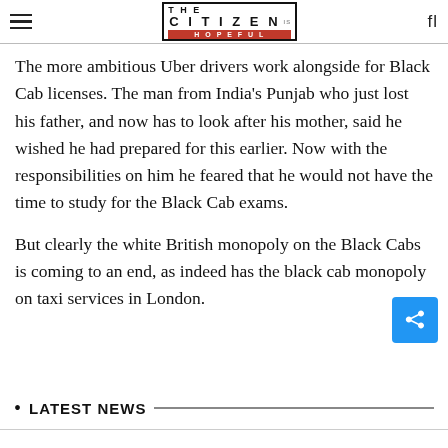THE CITIZEN IS HOPEFUL
The more ambitious Uber drivers work alongside for Black Cab licenses. The man from India's Punjab who just lost his father, and now has to look after his mother, said he wished he had prepared for this earlier. Now with the responsibilities on him he feared that he would not have the time to study for the Black Cab exams.
But clearly the white British monopoly on the Black Cabs is coming to an end, as indeed has the black cab monopoly on taxi services in London.
LATEST NEWS